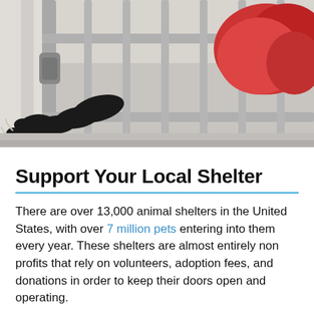[Figure (photo): Close-up photo of a black cat's paw reaching through the bars of a metal shelter gate or baby gate. Red/pink fluffy object visible in background on right side.]
Support Your Local Shelter
There are over 13,000 animal shelters in the United States, with over 7 million pets entering into them every year. These shelters are almost entirely non profits that rely on volunteers, adoption fees, and donations in order to keep their doors open and operating.
Often it's easiest to make the biggest impact when you